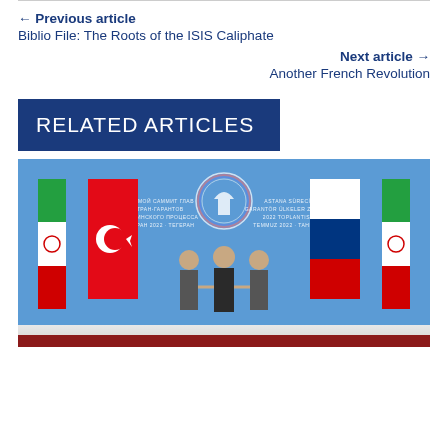← Previous article
Biblio File: The Roots of the ISIS Caliphate
Next article →
Another French Revolution
RELATED ARTICLES
[Figure (photo): Three men in suits and one in clerical robes standing together at what appears to be the Astana Process summit, with Iranian and Turkish flags on the left and Russian and Iranian flags on the right, against a blue backdrop with Cyrillic and Latin text, and a decorative emblem in the center.]